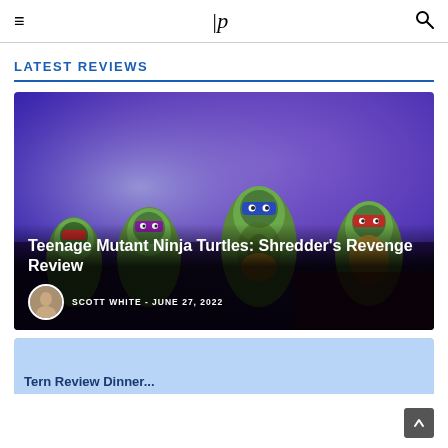≡  |p  🔍
LATEST REVIEWS
[Figure (photo): Teenage Mutant Ninja Turtles animated characters against a purple background, showing four turtles with colored masks]
Teenage Mutant Ninja Turtles: Shredder's Revenge Review
SCOTT WHITE  -  JUNE 27, 2022
[Figure (photo): Partial view of a second review card with blue background, partially visible at bottom of page]